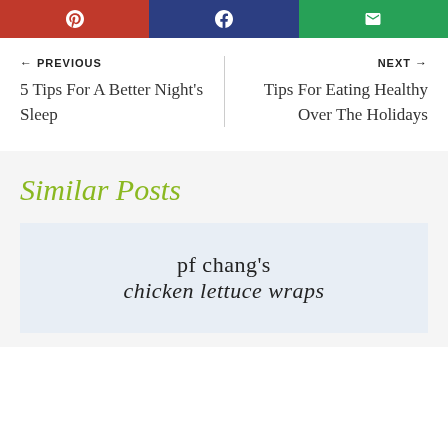[Figure (other): Social share buttons: Pinterest (red), Facebook (blue), Email (green) with icons]
← PREVIOUS
5 Tips For A Better Night's Sleep
NEXT →
Tips For Eating Healthy Over The Holidays
Similar Posts
[Figure (other): Recipe card image for PF Chang's chicken lettuce wraps with light blue/white background]